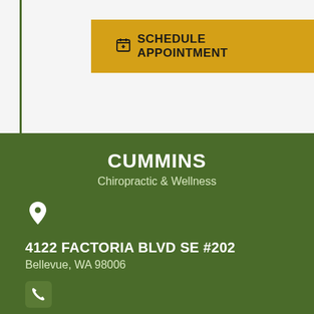[Figure (other): Schedule Appointment button with calendar icon on golden/yellow background, with green left border accent]
CUMMINS
Chiropractic & Wellness
[Figure (other): Location pin icon (white on green background)]
4122 FACTORIA BLVD SE #202
Bellevue, WA 98006
[Figure (other): Phone handset icon in rounded square]
CONTACT US